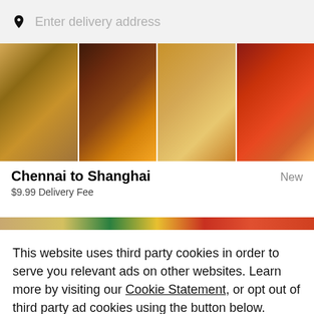Enter delivery address
[Figure (photo): Food photo strip showing four panels: fried seafood with lemon, grilled chicken wings with pineapple, a burger/sandwich, and a sesame bun burger with red sauce]
Chennai to Shanghai
$9.99 Delivery Fee
New
[Figure (photo): Partial second food image strip with colorful dishes]
This website uses third party cookies in order to serve you relevant ads on other websites. Learn more by visiting our Cookie Statement, or opt out of third party ad cookies using the button below.
Opt out
Got it